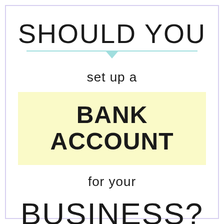SHOULD YOU
set up a
BANK ACCOUNT
for your
BUSINESS?